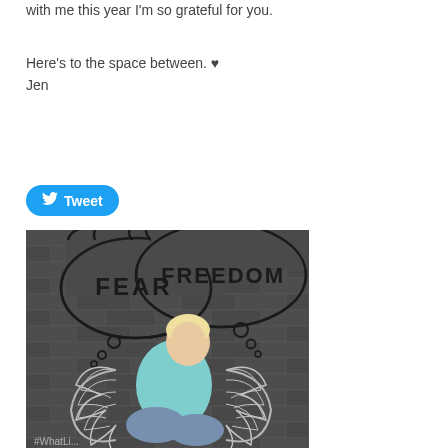with me this year  I'm so grateful for you.
Here's to the space between. ♥
Jen
[Figure (other): Twitter Tweet button (blue rounded rectangle with bird icon and 'Tweet' text)]
[Figure (photo): Photo of a blonde woman sitting cross-legged against a dark brick wall with chalk/paint drawings of thought bubbles labeled 'FEAR' and 'FREEDOM' and angel wings on the wall behind her. Text '#WhatLi...' visible at bottom left.]